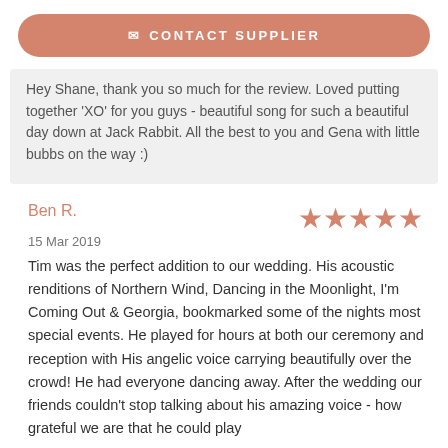CONTACT SUPPLIER
Hey Shane, thank you so much for the review. Loved putting together 'XO' for you guys - beautiful song for such a beautiful day down at Jack Rabbit. All the best to you and Gena with little bubbs on the way :)
Ben R.
15 Mar 2019
Tim was the perfect addition to our wedding. His acoustic renditions of Northern Wind, Dancing in the Moonlight, I'm Coming Out & Georgia, bookmarked some of the nights most special events. He played for hours at both our ceremony and reception with His angelic voice carrying beautifully over the crowd! He had everyone dancing away. After the wedding our friends couldn't stop talking about his amazing voice - how grateful we are that he could play